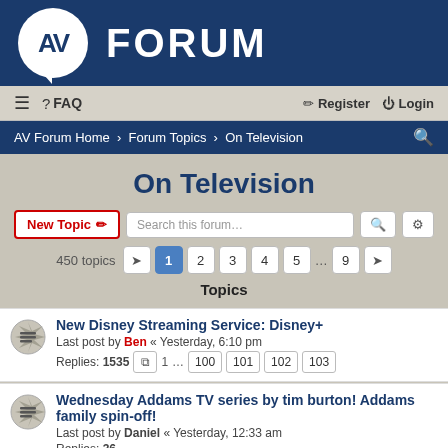AV FORUM
≡  FAQ   Register  Login
AV Forum Home › Forum Topics › On Television
On Television
New Topic  Search this forum…  450 topics  1 2 3 4 5 ... 9
Topics
New Disney Streaming Service: Disney+
Last post by Ben « Yesterday, 6:10 pm
Replies: 1535  1 ... 100 101 102 103
Wednesday Addams TV series by tim burton! Addams family spin-off!
Last post by Daniel « Yesterday, 12:33 am
Replies: 36